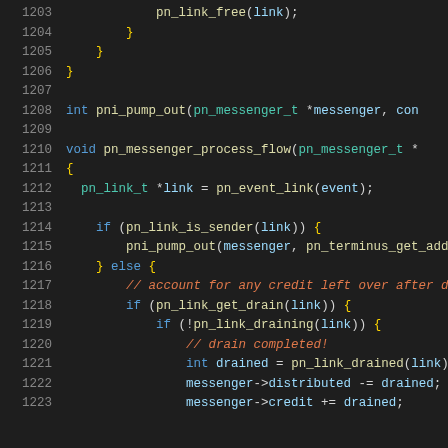Source code lines 1203-1223 showing C code for pn_messenger functions including pn_pump_out, pn_messenger_process_flow, pn_link_is_sender, pn_link_get_drain, pn_link_draining, and related logic.